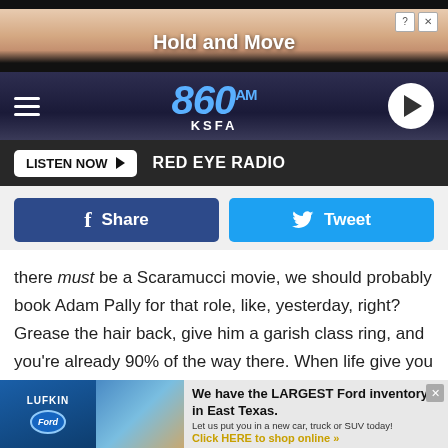[Figure (screenshot): Advertisement banner: 'Hold and Move' with question mark and X close icons on a beige/tan background with dark top and bottom bars]
[Figure (screenshot): 860 AM KSFA radio station header with hamburger menu, logo, and play button on dark navy background]
[Figure (screenshot): Listen Now button with RED EYE RADIO text on dark background bar]
[Figure (screenshot): Facebook Share and Twitter Tweet social media buttons]
there must be a Scaramucci movie, we should probably book Adam Pally for that role, like, yesterday, right? Grease the hair back, give him a garish class ring, and you're already 90% of the way there. When life give you lemons, you make lemonade, and I'd drunkenly hate-watch the heck out of that (whatever).
[Figure (screenshot): Lufkin Ford advertisement: 'We have the LARGEST Ford inventory in East Texas. Let us put you in a new car, truck or SUV today! Click HERE to shop online']